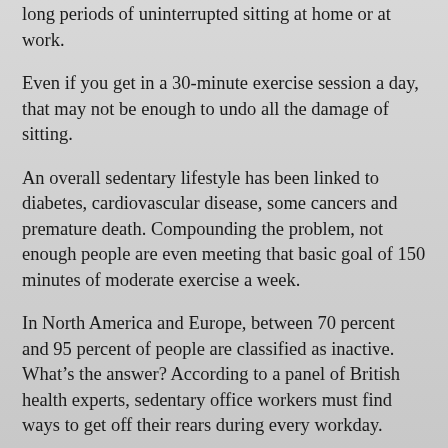long periods of uninterrupted sitting at home or at work.
Even if you get in a 30-minute exercise session a day, that may not be enough to undo all the damage of sitting.
An overall sedentary lifestyle has been linked to diabetes, cardiovascular disease, some cancers and premature death. Compounding the problem, not enough people are even meeting that basic goal of 150 minutes of moderate exercise a week.
In North America and Europe, between 70 percent and 95 percent of people are classified as inactive. What’s the answer? According to a panel of British health experts, sedentary office workers must find ways to get off their rears during every workday.
The ideal is to stand, move or do light activity for at least 4 hours daily. To make it easier, they suggest starting off with a goal of 2 hours, or about 15 minutes per hour of the average workday, and working up from there.
One way to achieve this is with an adjustable workstation